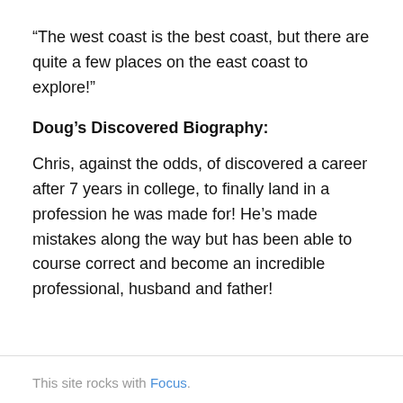“The west coast is the best coast, but there are quite a few places on the east coast to explore!”
Doug’s Discovered Biography:
Chris, against the odds, of discovered a career after 7 years in college, to finally land in a profession he was made for! He’s made mistakes along the way but has been able to course correct and become an incredible professional, husband and father!
This site rocks with Focus.